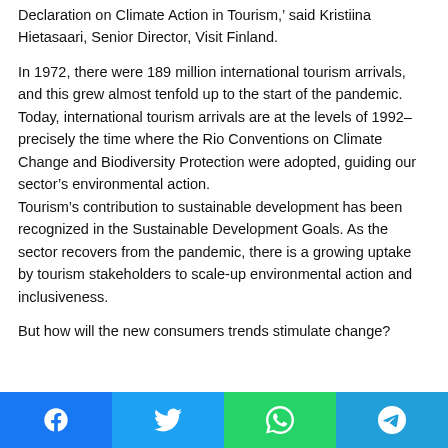Declaration on Climate Action in Tourism,' said Kristiina Hietasaari, Senior Director, Visit Finland.

In 1972, there were 189 million international tourism arrivals, and this grew almost tenfold up to the start of the pandemic. Today, international tourism arrivals are at the levels of 1992–precisely the time where the Rio Conventions on Climate Change and Biodiversity Protection were adopted, guiding our sector's environmental action. Tourism's contribution to sustainable development has been recognized in the Sustainable Development Goals. As the sector recovers from the pandemic, there is a growing uptake by tourism stakeholders to scale-up environmental action and inclusiveness.

But how will the new consumers trends stimulate change?
Facebook | Twitter | WhatsApp | Telegram